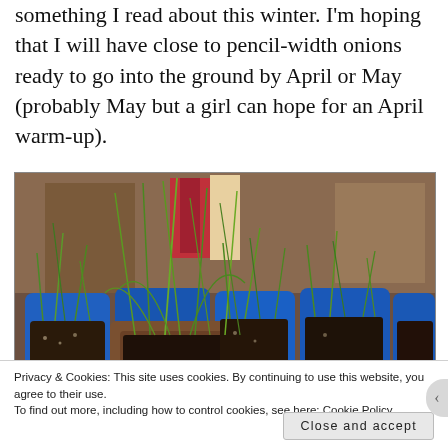something I read about this winter. I'm hoping that I will have close to pencil-width onions ready to go into the ground by April or May (probably May but a girl can hope for an April warm-up).
[Figure (photo): Multiple blue plastic containers and a brown container filled with dark soil and thin green onion seedling shoots growing upward, arranged on a surface indoors with shelving in background.]
Privacy & Cookies: This site uses cookies. By continuing to use this website, you agree to their use.
To find out more, including how to control cookies, see here: Cookie Policy
Close and accept